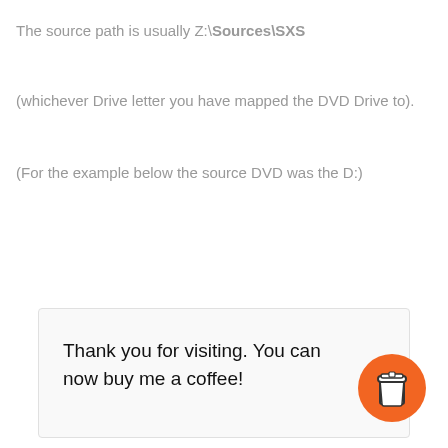The source path is usually Z:\Sources\SXS
(whichever Drive letter you have mapped the DVD Drive to).
(For the example below the source DVD was the D:)
Thank you for visiting. You can now buy me a coffee!